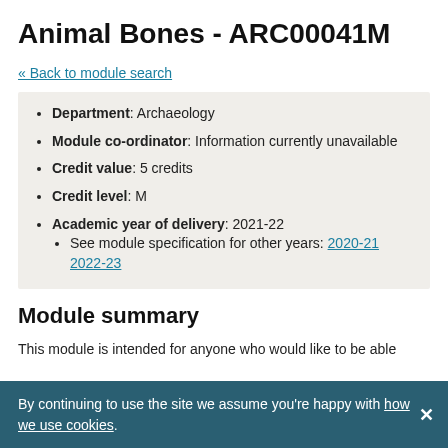Animal Bones - ARC00041M
« Back to module search
Department: Archaeology
Module co-ordinator: Information currently unavailable
Credit value: 5 credits
Credit level: M
Academic year of delivery: 2021-22
See module specification for other years: 2020-21 2022-23
Module summary
This module is intended for anyone who would like to be able
By continuing to use the site we assume you're happy with how we use cookies.